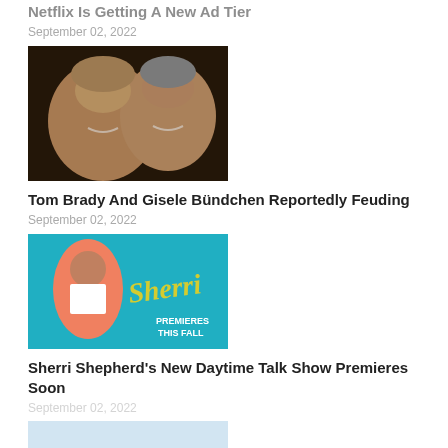Netflix Is Getting A New Ad Tier
September 02, 2022
[Figure (photo): Couple smiling together - woman with blonde highlights and man with grey temples, close-up portrait]
Tom Brady And Gisele Bündchen Reportedly Feuding
September 02, 2022
[Figure (photo): Sherri Shepherd promotional image for her new daytime talk show, teal background with yellow script logo and 'Premieres This Fall' text]
Sherri Shepherd's New Daytime Talk Show Premieres Soon
September 02, 2022
[Figure (photo): Partial image visible at bottom of page, light blue/grey background]